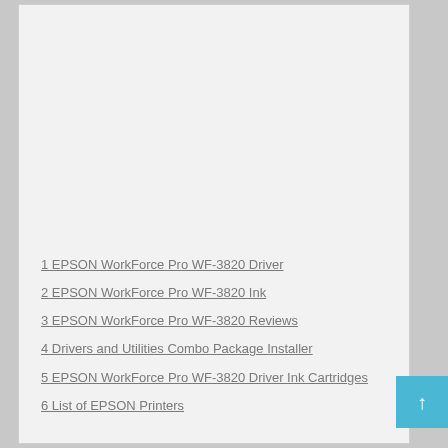1 EPSON WorkForce Pro WF-3820 Driver
2 EPSON WorkForce Pro WF-3820 Ink
3 EPSON WorkForce Pro WF-3820 Reviews
4 Drivers and Utilities Combo Package Installer
5 EPSON WorkForce Pro WF-3820 Driver Ink Cartridges
6 List of EPSON Printers